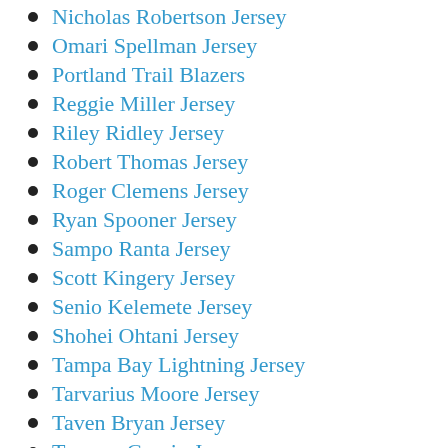Nicholas Robertson Jersey
Omari Spellman Jersey
Portland Trail Blazers
Reggie Miller Jersey
Riley Ridley Jersey
Robert Thomas Jersey
Roger Clemens Jersey
Ryan Spooner Jersey
Sampo Ranta Jersey
Scott Kingery Jersey
Senio Kelemete Jersey
Shohei Ohtani Jersey
Tampa Bay Lightning Jersey
Tarvarius Moore Jersey
Taven Bryan Jersey
Terence Garvin Jersey
Terrance Mitchell Jersey